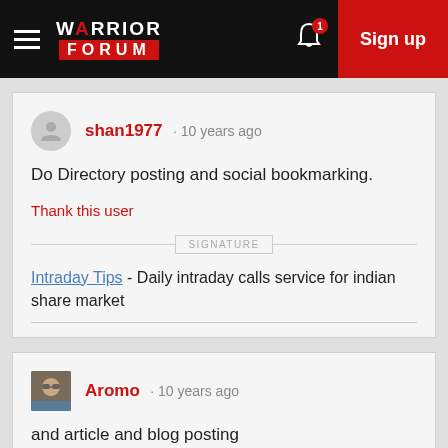WARRIOR FORUM — Sign up
shan1977 · 10 years ago
Do Directory posting and social bookmarking.
Thank this user
SIGNATURE
Intraday Tips - Daily intraday calls service for indian share market
Aromo · 10 years ago
and article and blog posting